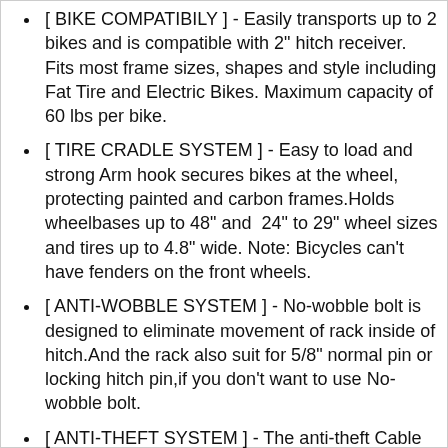[ BIKE COMPATIBILY ] - Easily transports up to 2 bikes and is compatible with 2" hitch receiver. Fits most frame sizes, shapes and style including Fat Tire and Electric Bikes. Maximum capacity of 60 lbs per bike.
[ TIRE CRADLE SYSTEM ] - Easy to load and strong Arm hook secures bikes at the wheel, protecting painted and carbon frames.Holds wheelbases up to 48" and 24" to 29" wheel sizes and tires up to 4.8" wide. Note: Bicycles can't have fenders on the front wheels.
[ ANTI-WOBBLE SYSTEM ] - No-wobble bolt is designed to eliminate movement of rack inside of hitch.And the rack also suit for 5/8" normal pin or locking hitch pin,if you don't want to use No-wobble bolt.
[ ANTI-THEFT SYSTEM ] - The anti-theft Cable and lock are included to use with the no-wobble bolt to effectively prevent your bicycles and the rack from being stolen. And request to use the anti-theft Cable to secure bikes more safely